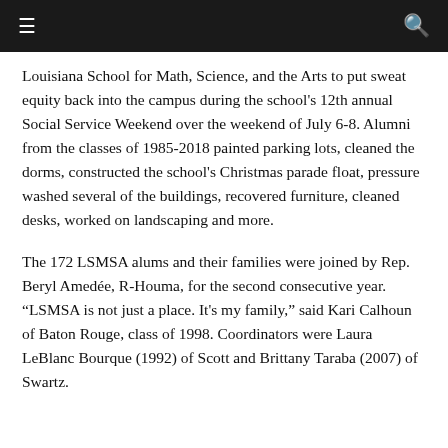Navigation bar with menu and search icons
Louisiana School for Math, Science, and the Arts to put sweat equity back into the campus during the school's 12th annual Social Service Weekend over the weekend of July 6-8. Alumni from the classes of 1985-2018 painted parking lots, cleaned the dorms, constructed the school's Christmas parade float, pressure washed several of the buildings, recovered furniture, cleaned desks, worked on landscaping and more.
The 172 LSMSA alums and their families were joined by Rep. Beryl Amedée, R-Houma, for the second consecutive year. “LSMSA is not just a place. It's my family,” said Kari Calhoun of Baton Rouge, class of 1998. Coordinators were Laura LeBlanc Bourque (1992) of Scott and Brittany Taraba (2007) of Swartz.